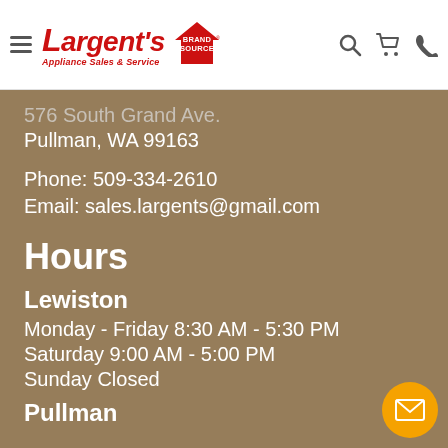[Figure (logo): Largent's Appliance Sales & Service logo with Brand Source badge]
576 South Grand Ave.
Pullman, WA 99163
Phone: 509-334-2610
Email: sales.largents@gmail.com
Hours
Lewiston
Monday - Friday 8:30 AM - 5:30 PM
Saturday 9:00 AM - 5:00 PM
Sunday Closed
Pullman